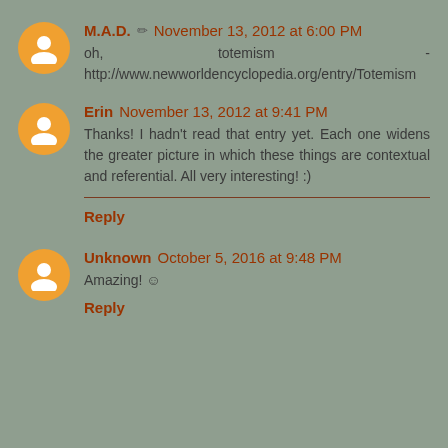M.A.D. ✏ November 13, 2012 at 6:00 PM
oh, totemism - http://www.newworldencyclopedia.org/entry/Totemism
Erin November 13, 2012 at 9:41 PM
Thanks! I hadn't read that entry yet. Each one widens the greater picture in which these things are contextual and referential. All very interesting! :)
Reply
Unknown October 5, 2016 at 9:48 PM
Amazing! ☺
Reply